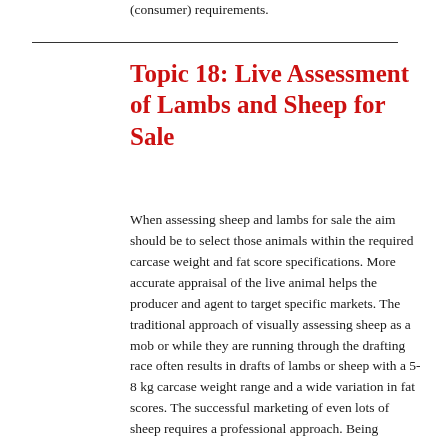(consumer) requirements.
Topic 18: Live Assessment of Lambs and Sheep for Sale
When assessing sheep and lambs for sale the aim should be to select those animals within the required carcase weight and fat score specifications. More accurate appraisal of the live animal helps the producer and agent to target specific markets. The traditional approach of visually assessing sheep as a mob or while they are running through the drafting race often results in drafts of lambs or sheep with a 5-8 kg carcase weight range and a wide variation in fat scores. The successful marketing of even lots of sheep requires a professional approach. Being